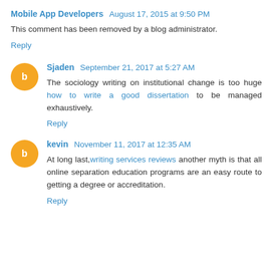Mobile App Developers  August 17, 2015 at 9:50 PM
This comment has been removed by a blog administrator.
Reply
Sjaden  September 21, 2017 at 5:27 AM
The sociology writing on institutional change is too huge how to write a good dissertation to be managed exhaustively.
Reply
kevin  November 11, 2017 at 12:35 AM
At long last,writing services reviews another myth is that all online separation education programs are an easy route to getting a degree or accreditation.
Reply